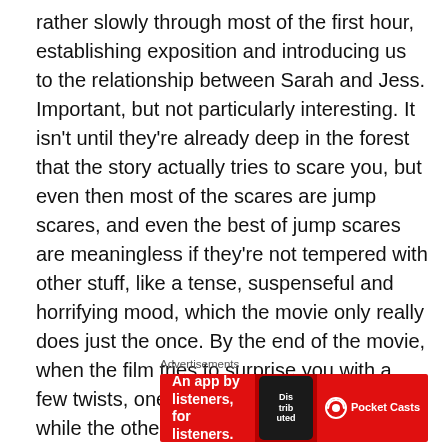rather slowly through most of the first hour, establishing exposition and introducing us to the relationship between Sarah and Jess. Important, but not particularly interesting. It isn't until they're already deep in the forest that the story actually tries to scare you, but even then most of the scares are jump scares, and even the best of jump scares are meaningless if they're not tempered with other stuff, like a tense, suspenseful and horrifying mood, which the movie only really does just the once. By the end of the movie, when the film tries to surprise you with a few twists, one feels forced and awkward, while the other you saw coming a mile away. Just not very effective in terms of storytelling or making you feel scared.
Advertisements
[Figure (other): Pocket Casts advertisement banner with red background. Text reads 'An app by listeners, for listeners.' with a phone image and Pocket Casts logo.]